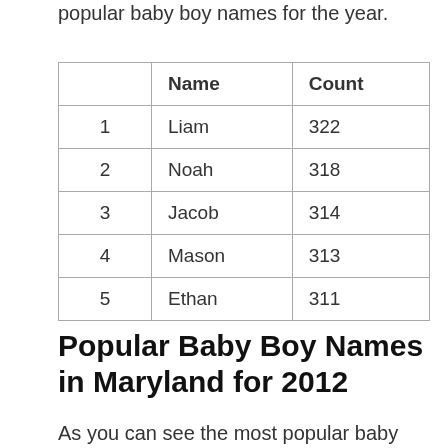popular baby boy names for the year.
|  | Name | Count |
| --- | --- | --- |
| 1 | Liam | 322 |
| 2 | Noah | 318 |
| 3 | Jacob | 314 |
| 4 | Mason | 313 |
| 5 | Ethan | 311 |
Popular Baby Boy Names in Maryland for 2012
As you can see the most popular baby boy